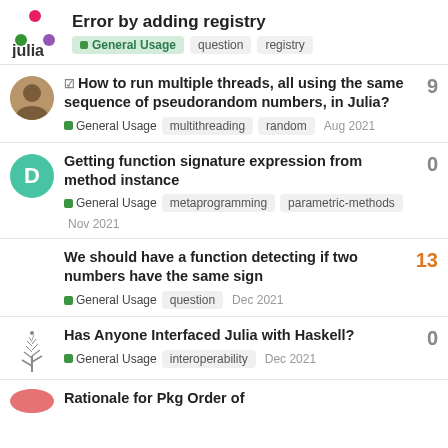Error by adding registry — General Usage, question, registry
How to run multiple threads, all using the same sequence of pseudorandom numbers, in Julia? — General Usage, multithreading, random — Aug 2021 — 9 replies
Getting function signature expression from method instance — General Usage, metaprogramming, parametric-methods — Nov 2021 — 0 replies
We should have a function detecting if two numbers have the same sign — General Usage, question — Dec 2021 — 13 replies
Has Anyone Interfaced Julia with Haskell? — General Usage, interoperability — Dec 2021 — 0 replies
Rationale for Pkg Order of...